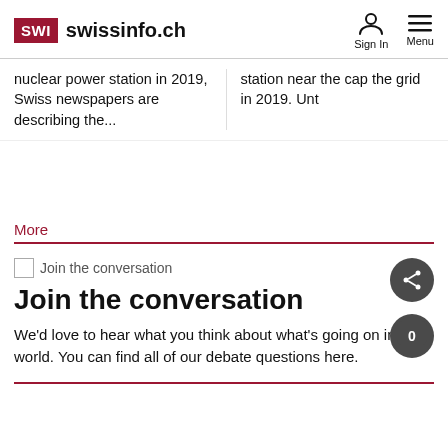SWI swissinfo.ch — Sign In  Menu
nuclear power station in 2019, Swiss newspapers are describing the...
station near the cap the grid in 2019. Unt
More
Join the conversation
We'd love to hear what you think about what's going on in the world. You can find all of our debate questions here.